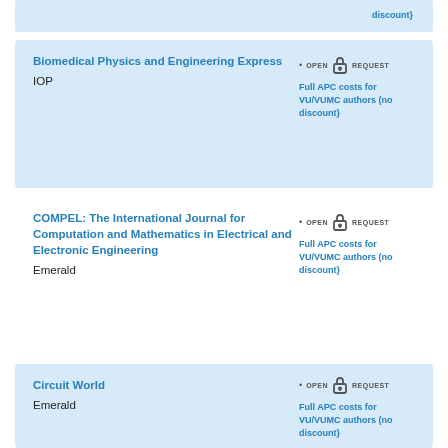discount}
Biomedical Physics and Engineering Express
IOP
Full APC costs for VU/VUMC authors (no discount}
COMPEL: The International Journal for Computation and Mathematics in Electrical and Electronic Engineering
Emerald
Full APC costs for VU/VUMC authors (no discount}
Circuit World
Emerald
Full APC costs for VU/VUMC authors (no discount}